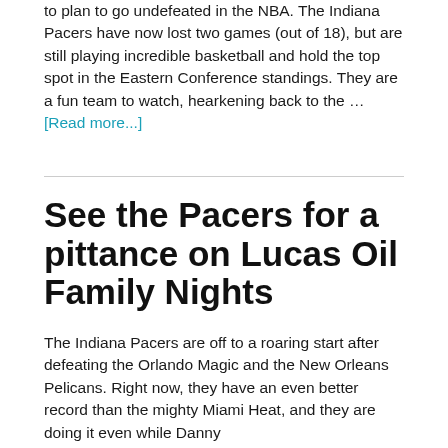to plan to go undefeated in the NBA. The Indiana Pacers have now lost two games (out of 18), but are still playing incredible basketball and hold the top spot in the Eastern Conference standings. They are a fun team to watch, hearkening back to the … [Read more...]
See the Pacers for a pittance on Lucas Oil Family Nights
The Indiana Pacers are off to a roaring start after defeating the Orlando Magic and the New Orleans Pelicans. Right now, they have an even better record than the mighty Miami Heat, and they are doing it even while Danny